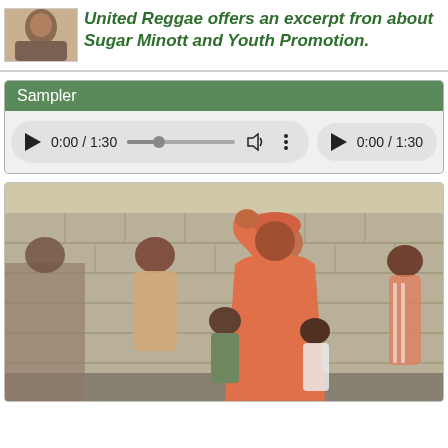[Figure (photo): Small avatar/thumbnail photo of a person, partially visible at top left]
United Reggae offers an excerpt from about Sugar Minott and Youth Promotion.
Sampler
[Figure (screenshot): Audio player controls showing play button, 0:00 / 1:30 time display, progress bar, volume and more icons]
[Figure (photo): Outdoor photograph showing a man in an orange/coral long shirt and hat, with arm raised, standing in front of a concrete block wall with several other people around him]